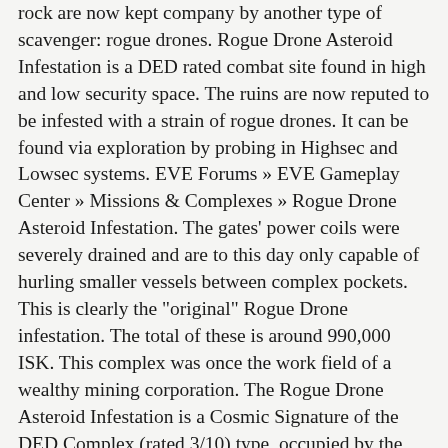rock are now kept company by another type of scavenger: rogue drones. Rogue Drone Asteroid Infestation is a DED rated combat site found in high and low security space. The ruins are now reputed to be infested with a strain of rogue drones. It can be found via exploration by probing in Highsec and Lowsec systems. EVE Forums » EVE Gameplay Center » Missions & Complexes » Rogue Drone Asteroid Infestation. The gates' power coils were severely drained and are to this day only capable of hurling smaller vessels between complex pockets. This is clearly the "original" Rogue Drone infestation. The total of these is around 990,000 ISK. This complex was once the work field of a wealthy mining corporation. The Rogue Drone Asteroid Infestation is a Cosmic Signature of the DED Complex (rated 3/10) type, occupied by the Rogue Drones.It can be found via exploration by probing in Highsec and Lowsec systems. We lost contact with the This site's acceleration gate allows only Cruiser class ships or lower and their Tech 2 equivalents to enter the site. Rogue Drone Asteroid Infestation Eve. This all